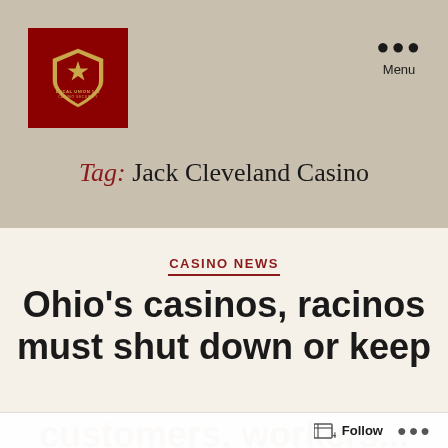[Figure (logo): Local Union 141 Casino Security shield logo on dark red background]
Menu
Tag: Jack Cleveland Casino
CASINO NEWS
Ohio's casinos, racinos must shut down or keep customers, workers...